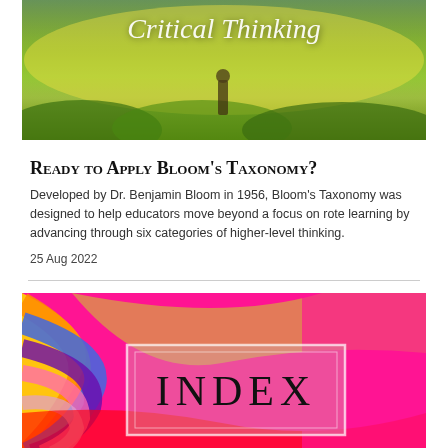[Figure (photo): Nature field scene with cursive 'Critical Thinking' text overlaid in white italic script]
Ready to Apply Bloom's Taxonomy?
Developed by Dr. Benjamin Bloom in 1956, Bloom's Taxonomy was designed to help educators move beyond a focus on rote learning by advancing through six categories of higher-level thinking.
25 Aug 2022
[Figure (photo): Colorful swirled paper strips in rainbow colors with a semi-transparent box containing the word INDEX in large serif letters]